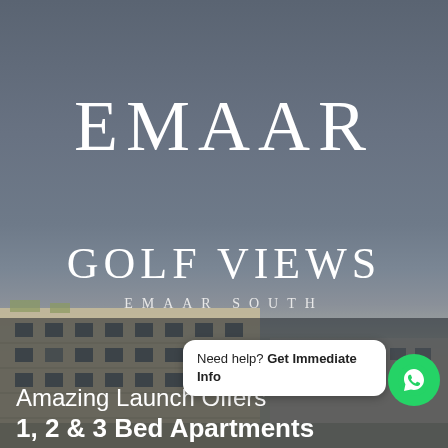EMAAR
GOLF VIEWS
EMAAR SOUTH
Amazing Launch Offers
1, 2 & 3 Bed Apartments
[Figure (other): WhatsApp chat bubble widget with text 'Need help? Get Immediate Info' and green WhatsApp icon button]
[Figure (photo): Background image of multi-storey residential apartment building with balconies under a muted grey-blue sky, with Emaar Golf Views branding overlay]